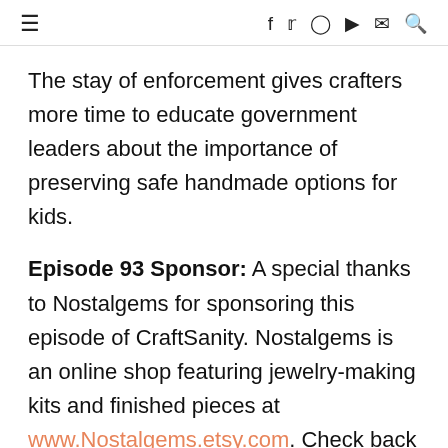≡  f  twitter  instagram  youtube  mail  search
The stay of enforcement gives crafters more time to educate government leaders about the importance of preserving safe handmade options for kids.
Episode 93 Sponsor: A special thanks to Nostalgems for sponsoring this episode of CraftSanity. Nostalgems is an online shop featuring jewelry-making kits and finished pieces at www.Nostalgems.etsy.com. Check back soon for information about a special